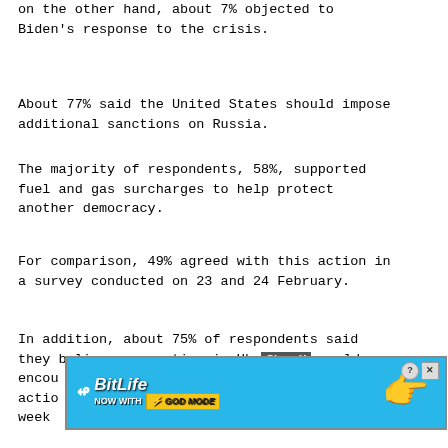on the other hand, about 7% objected to Biden's response to the crisis.
About 77% said the United States should impose additional sanctions on Russia.
The majority of respondents, 58%, supported fuel and gas surcharges to help protect another democracy.
For comparison, 49% agreed with this action in a survey conducted on 23 and 24 February.
In addition, about 75% of respondents said they believe non-action in Ukraine would encourage further military action... 71% a week...
[Figure (other): Advertisement overlay for BitLife game with 'Now with God Mode' tagline, with a Close X button and help/close icons on top right.]